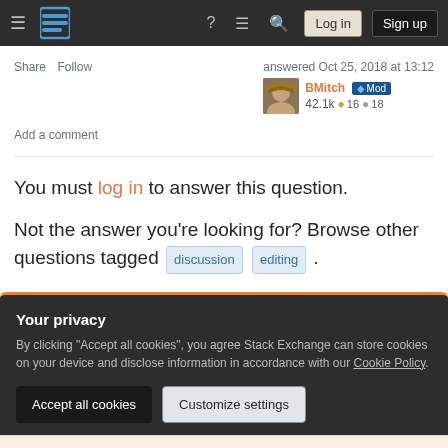Stack Exchange navigation bar with Log in and Sign up buttons
Share   Follow   answered Oct 25, 2018 at 13:12   BMitch  Mod  42.1k  16  18
Add a comment
You must log in to answer this question.
Not the answer you're looking for? Browse other questions tagged discussion editing .
Your privacy
By clicking "Accept all cookies", you agree Stack Exchange can store cookies on your device and disclose information in accordance with our Cookie Policy.
Accept all cookies   Customize settings